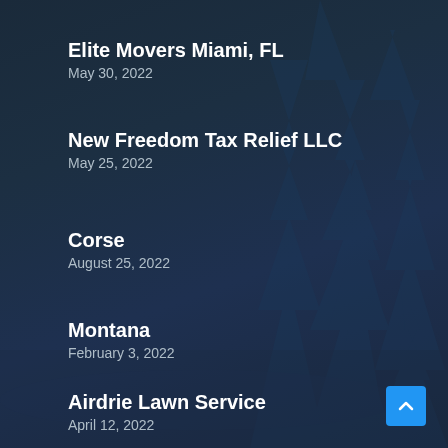Elite Movers Miami, FL
May 30, 2022
New Freedom Tax Relief LLC
May 25, 2022
Corse
August 25, 2022
Montana
February 3, 2022
Airdrie Lawn Service
April 12, 2022